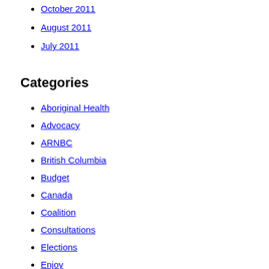October 2011
August 2011
July 2011
Categories
Aboriginal Health
Advocacy
ARNBC
British Columbia
Budget
Canada
Coalition
Consultations
Elections
Enjoy
Events
Funding
Harm Reduction